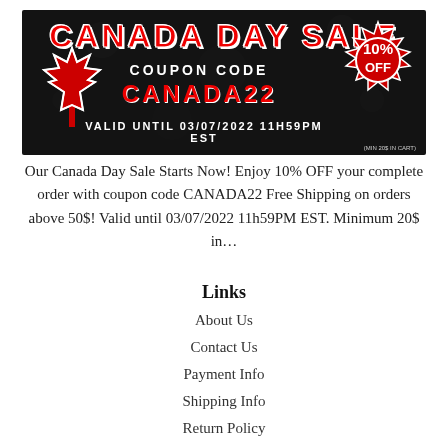[Figure (infographic): Canada Day Sale promotional banner with black background, red maple leaf, coupon code CANADA22, 10% OFF badge, valid until 03/07/2022 11H59PM EST]
Our Canada Day Sale Starts Now! Enjoy 10% OFF your complete order with coupon code CANADA22 Free Shipping on orders above 50$! Valid until 03/07/2022 11h59PM EST. Minimum 20$ in...
Links
About Us
Contact Us
Payment Info
Shipping Info
Return Policy